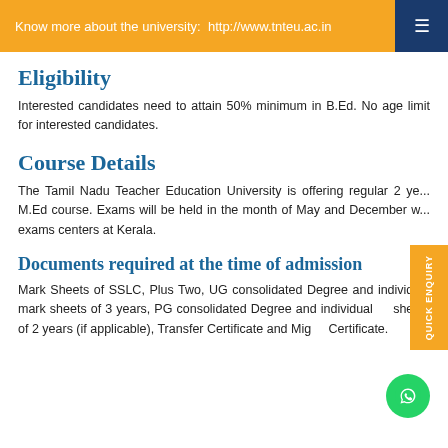Know more about the university:  http://www.tnteu.ac.in
Eligibility
Interested candidates need to attain 50% minimum in B.Ed. No age limit for interested candidates.
Course Details
The Tamil Nadu Teacher Education University is offering regular 2 ye... M.Ed course. Exams will be held in the month of May and December w... exams centers at Kerala.
Documents required at the time of admission
Mark Sheets of SSLC, Plus Two, UG consolidated Degree and individual mark sheets of 3 years, PG consolidated Degree and individual mark sheets of 2 years (if applicable), Transfer Certificate and Migration Certificate.